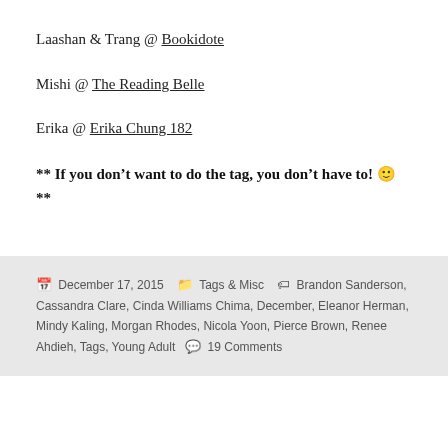Laashan & Trang @ Bookidote
Mishi @ The Reading Belle
Erika @ Erika Chung 182
** If you don't want to do the tag, you don't have to! 🙂 **
December 17, 2015  Tags & Misc  Brandon Sanderson, Cassandra Clare, Cinda Williams Chima, December, Eleanor Herman, Mindy Kaling, Morgan Rhodes, Nicola Yoon, Pierce Brown, Renee Ahdieh, Tags, Young Adult  19 Comments